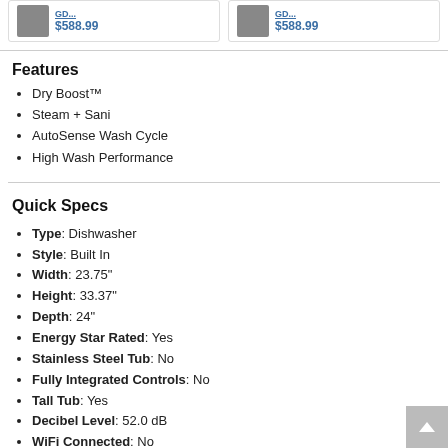[Figure (other): Two product cards side by side, each showing a dishwasher thumbnail image and price $588.99 in blue]
Features
Dry Boost™
Steam + Sani
AutoSense Wash Cycle
High Wash Performance
Quick Specs
Type: Dishwasher
Style: Built In
Width: 23.75"
Height: 33.37"
Depth: 24"
Energy Star Rated: Yes
Stainless Steel Tub: No
Fully Integrated Controls: No
Tall Tub: Yes
Decibel Level: 52.0 dB
WiFi Connected: No